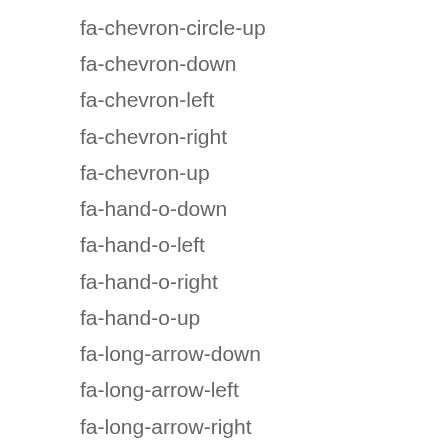fa-chevron-circle-up
fa-chevron-down
fa-chevron-left
fa-chevron-right
fa-chevron-up
fa-hand-o-down
fa-hand-o-left
fa-hand-o-right
fa-hand-o-up
fa-long-arrow-down
fa-long-arrow-left
fa-long-arrow-right
fa-long-arrow-up
fa-toggle-down